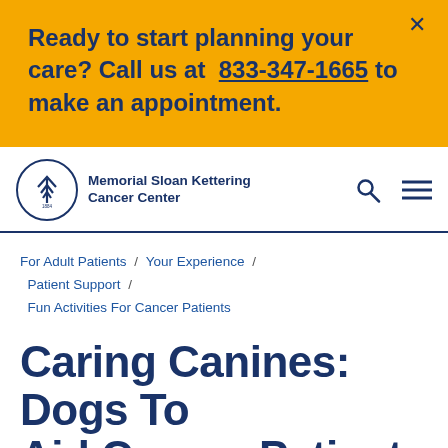Ready to start planning your care? Call us at 833-347-1665 to make an appointment.
Memorial Sloan Kettering Cancer Center
For Adult Patients / Your Experience / Patient Support / Fun Activities For Cancer Patients
Caring Canines: Dogs To Aid Cancer Patient Recovery